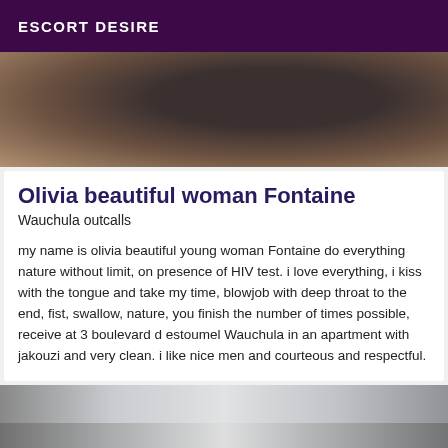ESCORT DESIRE
[Figure (photo): Top portion of a woman with dark hair, partially visible, dark clothing background]
Olivia beautiful woman Fontaine
Wauchula outcalls
my name is olivia beautiful young woman Fontaine do everything nature without limit, on presence of HIV test. i love everything, i kiss with the tongue and take my time, blowjob with deep throat to the end, fist, swallow, nature, you finish the number of times possible, receive at 3 boulevard d estoumel Wauchula in an apartment with jakouzi and very clean. i like nice men and courteous and respectful.
[Figure (photo): Bottom partial photo showing metallic/silver objects, possibly jewelry or accessories]